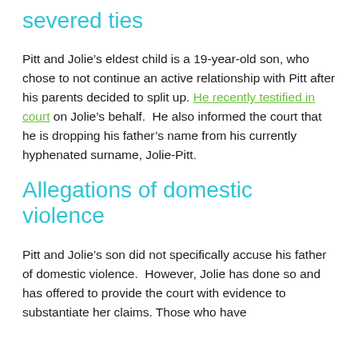severed ties
Pitt and Jolie’s eldest child is a 19-year-old son, who chose to not continue an active relationship with Pitt after his parents decided to split up. He recently testified in court on Jolie’s behalf. He also informed the court that he is dropping his father’s name from his currently hyphenated surname, Jolie-Pitt.
Allegations of domestic violence
Pitt and Jolie’s son did not specifically accuse his father of domestic violence. However, Jolie has done so and has offered to provide the court with evidence to substantiate her claims. Those who have